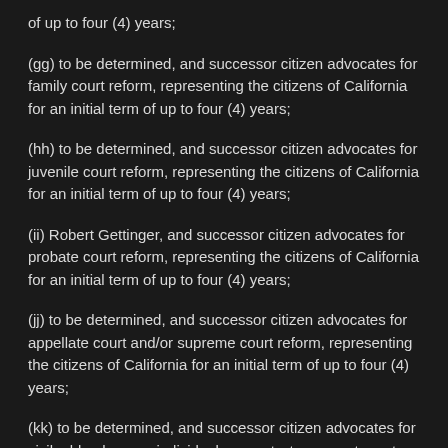of up to four (4) years;
(gg) to be determined, and successor citizen advocates for family court reform, representing the citizens of California for an initial term of up to four (4) years;
(hh) to be determined, and successor citizen advocates for juvenile court reform, representing the citizens of California for an initial term of up to four (4) years;
(ii) Robert Gettinger, and successor citizen advocates for probate court reform, representing the citizens of California for an initial term of up to four (4) years;
(jj) to be determined, and successor citizen advocates for appellate court and/or supreme court reform, representing the citizens of California for an initial term of up to four (4) years;
(kk) to be determined, and successor citizen advocates for civil, elder, human, individual, property, taxpayer, tenants, veteran's rights and/or other rights reform, representing the citizens of California for